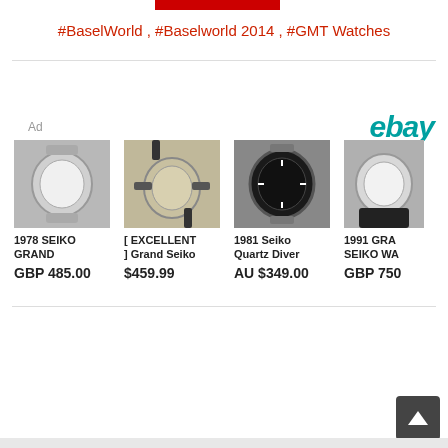#BaselWorld , #Baselworld 2014 , #GMT Watches
Ad
[Figure (logo): eBay logo in teal/cyan color]
[Figure (photo): 1978 Seiko Grand watch on metal bracelet, white dial]
1978 SEIKO GRAND
GBP 485.00
[Figure (photo): Excellent Grand Seiko watch with black leather strap, champagne dial]
[ EXCELLENT ] Grand Seiko
$459.99
[Figure (photo): 1981 Seiko Quartz Diver watch with black bezel on wrist]
1981 Seiko Quartz Diver
AU $349.00
[Figure (photo): 1991 Grand Seiko watch with black leather strap, white dial (partially cropped)]
1991 GRA SEIKO WA
GBP 750